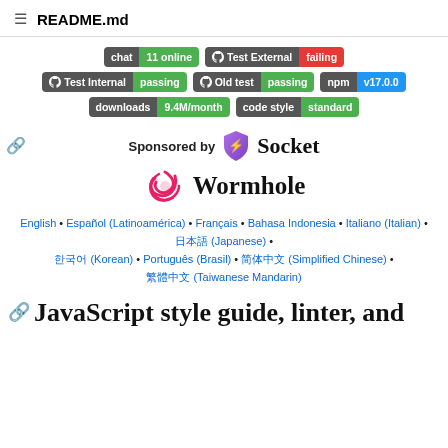README.md
[Figure (infographic): Badges: chat 11 online, Test External failing, Test Internal passing, Old test passing, npm v17.0.0, downloads 9.4M/month, code style standard]
[Figure (logo): Sponsored by Socket and Wormhole logos]
English • Español (Latinoamérica) • Français • Bahasa Indonesia • Italiano (Italian) • 日本語 (Japanese) • 한국어 (Korean) • Português (Brasil) • 简体中文 (Simplified Chinese) • 繁體中文 (Taiwanese Mandarin)
JavaScript style guide, linter, and formatter